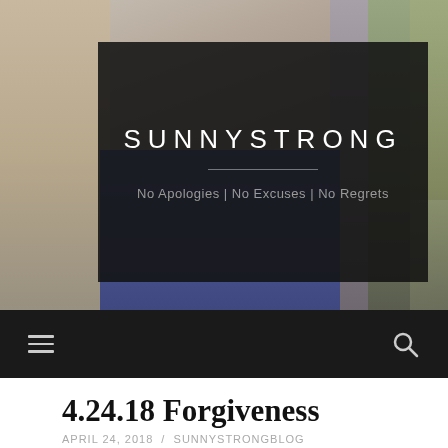[Figure (photo): Group photo of several women, some wearing graduation caps and gowns, smiling outdoors. A dark semi-transparent overlay is placed over the middle portion of the photo containing the site title and tagline.]
SUNNYSTRONG
No Apologies | No Excuses | No Regrets
≡    🔍
4.24.18 Forgiveness
APRIL 24, 2018  /  SUNNYSTRONGBLOG